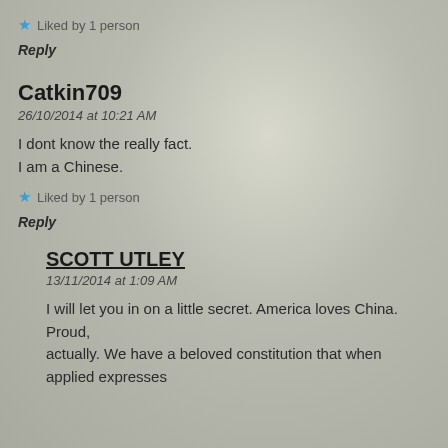★ Liked by 1 person
Reply
Catkin709
26/10/2014 at 10:21 AM
I dont know the really fact.
I am a Chinese.
★ Liked by 1 person
Reply
SCOTT UTLEY
13/11/2014 at 1:09 AM
I will let you in on a little secret. America loves China. Proud, actually. We have a beloved constitution that when applied expresses